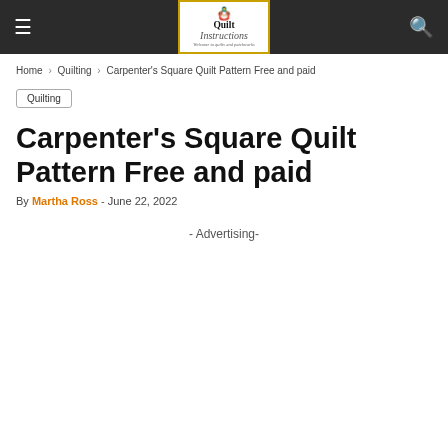Quilt Instructions — navigation bar with hamburger menu and search icon
Home › Quilting › Carpenter's Square Quilt Pattern Free and paid
Quilting
Carpenter's Square Quilt Pattern Free and paid
By Martha Ross - June 22, 2022
- Advertising-